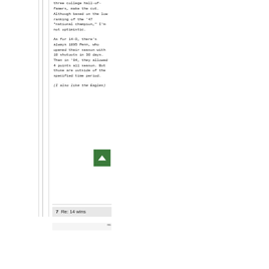three college hall-of-famers, make the cut. Although based on the low ranking of the '47 "national champion," I'm not optimistic.
As for 14-0, there's always 1895 Penn, who opened their season with 10 shutouts in 30 days. Then in '04, they allowed 4 points all season. But those are outside of the specified time period.
(I also like the Eagles)
7  Re: 14 wins